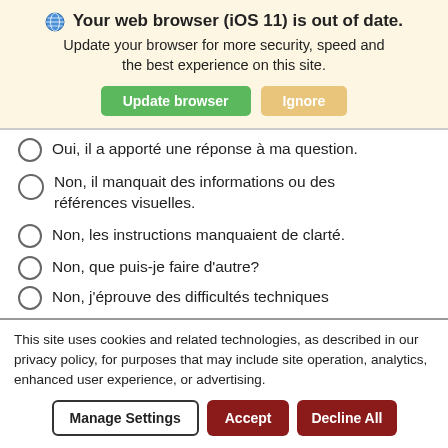Your web browser (iOS 11) is out of date. Update your browser for more security, speed and the best experience on this site.
Oui, il a apporté une réponse à ma question.
Non, il manquait des informations ou des références visuelles.
Non, les instructions manquaient de clarté.
Non, que puis-je faire d'autre?
Non, j'éprouve des difficultés techniques
This site uses cookies and related technologies, as described in our privacy policy, for purposes that may include site operation, analytics, enhanced user experience, or advertising.